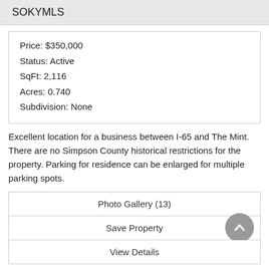SOKYMLS
| Price: $350,000 |
| Status: Active |
| SqFt: 2,116 |
| Acres: 0.740 |
| Subdivision: None |
Excellent location for a business between I-65 and The Mint. There are no Simpson County historical restrictions for the property. Parking for residence can be enlarged for multiple parking spots.
Photo Gallery (13)
Save Property
View Details